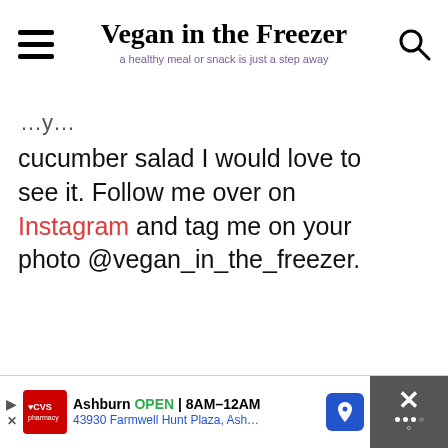Vegan in the Freezer — a healthy meal or snack is just a step away
cucumber salad I would love to see it. Follow me over on Instagram and tag me on your photo @vegan_in_the_freezer.
[Figure (screenshot): Floating action buttons: heart icon with count 7.9K and share icon, in blue circles]
[Figure (screenshot): CVS Pharmacy ad banner: Ashburn OPEN 8AM-12AM, 43930 Farmwell Hunt Plaza, Ash...]